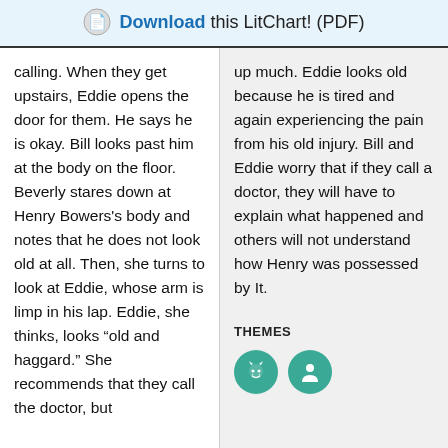Download this LitChart! (PDF)
calling. When they get upstairs, Eddie opens the door for them. He says he is okay. Bill looks past him at the body on the floor. Beverly stares down at Henry Bowers's body and notes that he does not look old at all. Then, she turns to look at Eddie, whose arm is limp in his lap. Eddie, she thinks, looks “old and haggard.” She recommends that they call the doctor, but
up much. Eddie looks old because he is tired and again experiencing the pain from his old injury. Bill and Eddie worry that if they call a doctor, they will have to explain what happened and others will not understand how Henry was possessed by It.
THEMES
[Figure (illustration): Two circular green icons representing themes: one with a devil/villain face, one with a family/person figure.]